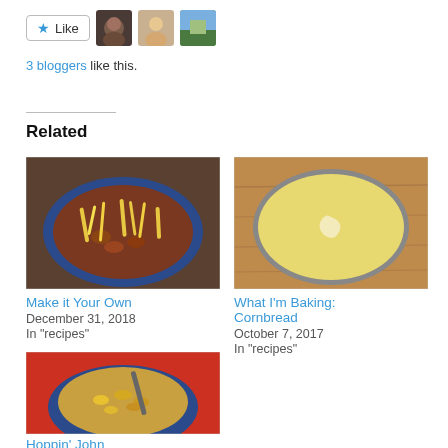[Figure (other): Like button with star icon and three blogger avatar thumbnails]
3 bloggers like this.
Related
[Figure (photo): Bowl of chili topped with shredded cheese]
Make it Your Own
December 31, 2018
In "recipes"
[Figure (photo): Round baking pan with cornbread batter on wooden surface]
What I'm Baking: Cornbread
October 7, 2017
In "recipes"
[Figure (photo): Blue bowl of Hoppin' John with fork]
Hoppin' John